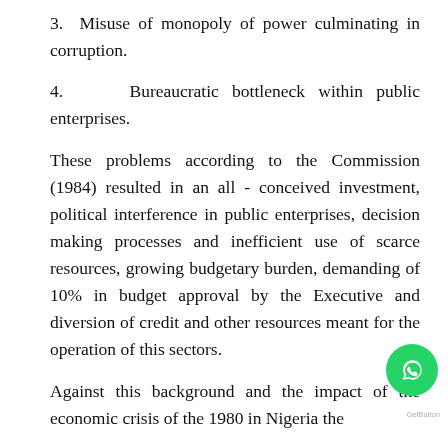3. Misuse of monopoly of power culminating in corruption.
4. Bureaucratic bottleneck within public enterprises.
These problems according to the Commission (1984) resulted in an all - conceived investment, political interference in public enterprises, decision making processes and inefficient use of scarce resources, growing budgetary burden, demanding of 10% in budget approval by the Executive and diversion of credit and other resources meant for the operation of this sectors.
Against this background and the impact of the economic crisis of the 1980 in Nigeria the